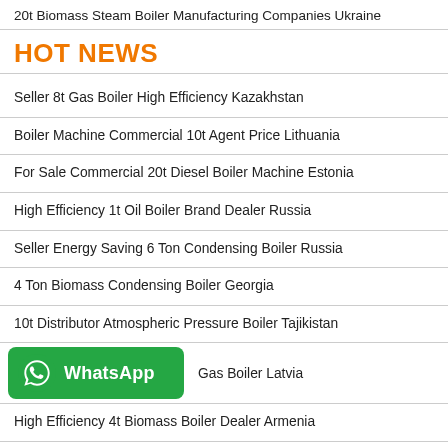20t Biomass Steam Boiler Manufacturing Companies Ukraine
HOT NEWS
Seller 8t Gas Boiler High Efficiency Kazakhstan
Boiler Machine Commercial 10t Agent Price Lithuania
For Sale Commercial 20t Diesel Boiler Machine Estonia
High Efficiency 1t Oil Boiler Brand Dealer Russia
Seller Energy Saving 6 Ton Condensing Boiler Russia
4 Ton Biomass Condensing Boiler Georgia
10t Distributor Atmospheric Pressure Boiler Tajikistan
WhatsApp  Gas Boiler Latvia
High Efficiency 4t Biomass Boiler Dealer Armenia